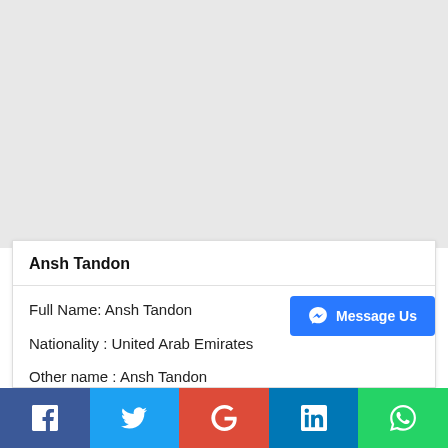[Figure (other): Gray background area (advertisement/image placeholder)]
Ansh Tandon
Full Name: Ansh Tandon
Nationality : United Arab Emirates
Other name : Ansh Tandon
Facebook | Twitter | Google+ | LinkedIn | WhatsApp social share buttons